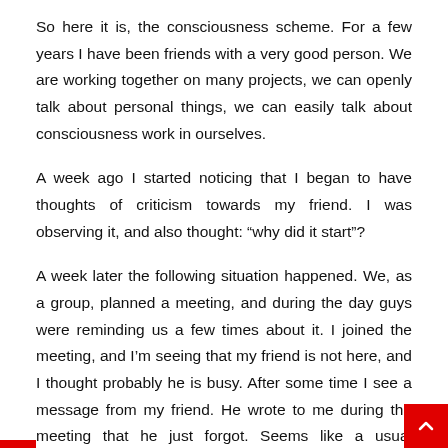So here it is, the consciousness scheme. For a few years I have been friends with a very good person. We are working together on many projects, we can openly talk about personal things, we can easily talk about consciousness work in ourselves.
A week ago I started noticing that I began to have thoughts of criticism towards my friend. I was observing it, and also thought: “why did it start”?
A week later the following situation happened. We, as a group, planned a meeting, and during the day guys were reminding us a few times about it. I joined the meeting, and I’m seeing that my friend is not here, and I thought probably he is busy. After some time I see a message from my friend. He wrote to me during the meeting that he just forgot. Seems like a usual situation. However, consciousness continues its run.